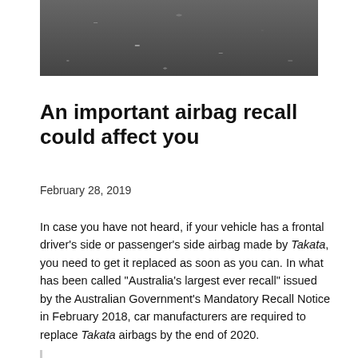[Figure (photo): Close-up photo of textured dark surface, likely an airbag or vehicle interior fabric material]
An important airbag recall could affect you
February 28, 2019
In case you have not heard, if your vehicle has a frontal driver's side or passenger's side airbag made by Takata, you need to get it replaced as soon as you can. In what has been called “Australia's largest ever recall” issued by the Australian Government's Mandatory Recall Notice in February 2018, car manufacturers are required to replace Takata airbags by the end of 2020.